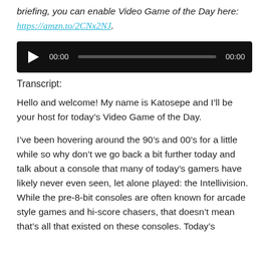briefing, you can enable Video Game of the Day here:
https://amzn.to/2CNx2NJ.
[Figure (other): Audio player widget with play button, timestamp 00:00, progress bar, and end time 00:00 on a black background.]
Transcript:
Hello and welcome! My name is Katosepe and I’ll be your host for today’s Video Game of the Day.
I’ve been hovering around the 90’s and 00’s for a little while so why don’t we go back a bit further today and talk about a console that many of today’s gamers have likely never even seen, let alone played: the Intellivision. While the pre-8-bit consoles are often known for arcade style games and hi-score chasers, that doesn’t mean that’s all that existed on these consoles. Today’s